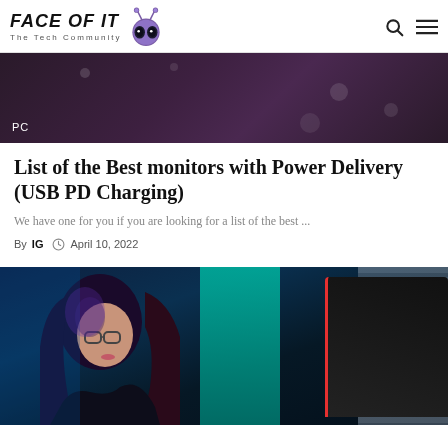FACE OF IT The Tech Community
[Figure (photo): Dark bokeh background banner with PC category label]
List of the Best monitors with Power Delivery (USB PD Charging)
We have one for you if you are looking for a list of the best ...
By IG  April 10, 2022
[Figure (photo): Woman with glasses looking at monitor in blue-lit gaming environment]